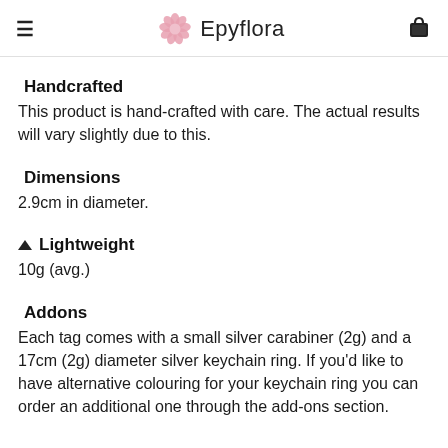Epyflora
Handcrafted
This product is hand-crafted with care. The actual results will vary slightly due to this.
Dimensions
2.9cm in diameter.
Lightweight
10g (avg.)
Addons
Each tag comes with a small silver carabiner (2g) and a 17cm (2g) diameter silver keychain ring. If you'd like to have alternative colouring for your keychain ring you can order an additional one through the add-ons section.